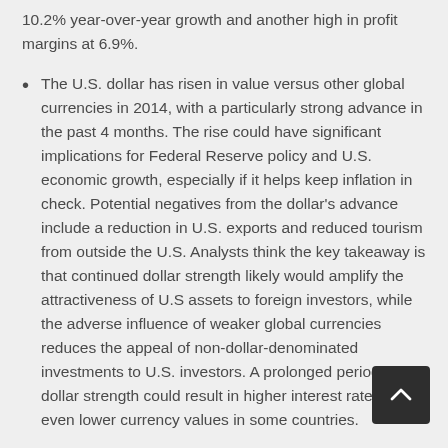10.2% year-over-year growth and another high in profit margins at 6.9%.
The U.S. dollar has risen in value versus other global currencies in 2014, with a particularly strong advance in the past 4 months. The rise could have significant implications for Federal Reserve policy and U.S. economic growth, especially if it helps keep inflation in check. Potential negatives from the dollar's advance include a reduction in U.S. exports and reduced tourism from outside the U.S. Analysts think the key takeaway is that continued dollar strength likely would amplify the attractiveness of U.S assets to foreign investors, while the adverse influence of weaker global currencies reduces the appeal of non-dollar-denominated investments to U.S. investors. A prolonged period of dollar strength could result in higher interest rates and/or even lower currency values in some countries.